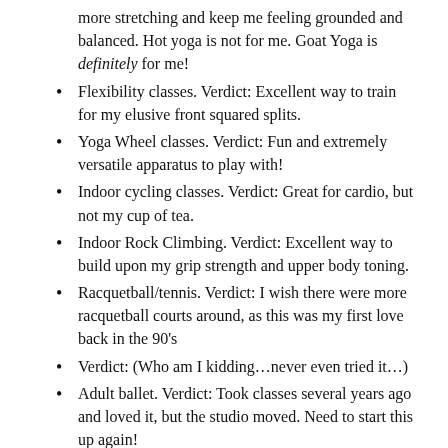more stretching and keep me feeling grounded and balanced. Hot yoga is not for me. Goat Yoga is definitely for me!
Flexibility classes. Verdict: Excellent way to train for my elusive front squared splits.
Yoga Wheel classes. Verdict: Fun and extremely versatile apparatus to play with!
Indoor cycling classes. Verdict: Great for cardio, but not my cup of tea.
Indoor Rock Climbing. Verdict: Excellent way to build upon my grip strength and upper body toning.
Racquetball/tennis. Verdict: I wish there were more racquetball courts around, as this was my first love back in the 90's
Verdict: (Who am I kidding...never even tried it...)
Adult ballet. Verdict: Took classes several years ago and loved it, but the studio moved. Need to start this up again!
It’s very easy to get “tunnel vision” when it comes to on fitness regimen of choice. The body, along with the mind,